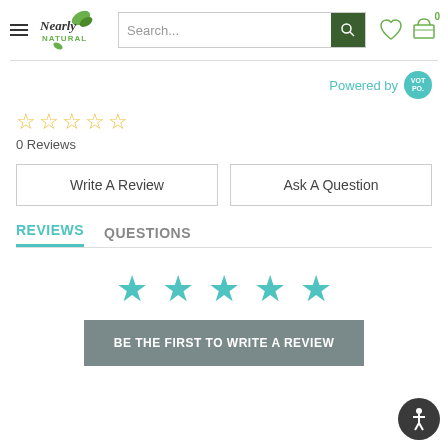[Figure (screenshot): Nearly Natural website header with hamburger menu, logo, search bar with dark green search button, heart wishlist icon, and shopping cart icon with 0 badge]
Powered by VOT PO.
[Figure (other): 5 empty star rating icons in yellow/gold outline]
0 Reviews
Write A Review
Ask A Question
REVIEWS   QUESTIONS
[Figure (other): 5 filled teal/turquoise star icons]
BE THE FIRST TO WRITE A REVIEW
[Figure (other): Accessibility icon button - dark circle with white person/human figure]